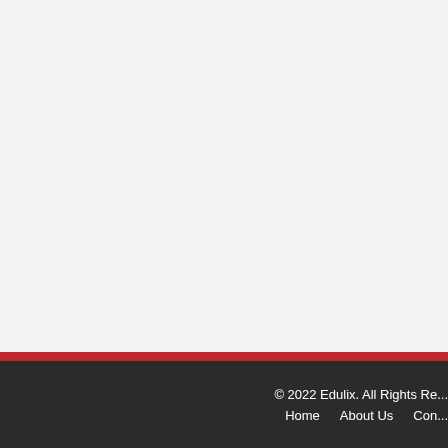© 2022 Edulix. All Rights Reserved. Home  About Us  Con...